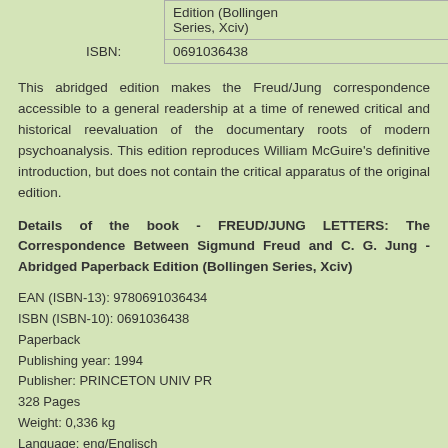| Edition (Bollingen Series, Xciv) |
| ISBN: | 0691036438 |
This abridged edition makes the Freud/Jung correspondence accessible to a general readership at a time of renewed critical and historical reevaluation of the documentary roots of modern psychoanalysis. This edition reproduces William McGuire's definitive introduction, but does not contain the critical apparatus of the original edition.
Details of the book - FREUD/JUNG LETTERS: The Correspondence Between Sigmund Freud and C. G. Jung - Abridged Paperback Edition (Bollingen Series, Xciv)
EAN (ISBN-13): 9780691036434
ISBN (ISBN-10): 0691036438
Paperback
Publishing year: 1994
Publisher: PRINCETON UNIV PR
328 Pages
Weight: 0,336 kg
Language: eng/Englisch
Book in our database since 2007-03-19T17:27:09-04:00 (New York)
Detail page last modified on 2022-08-20T10:58:47-04:00 (New York)
ISBN/EAN: 0691036438
ISBN - alternate spelling: